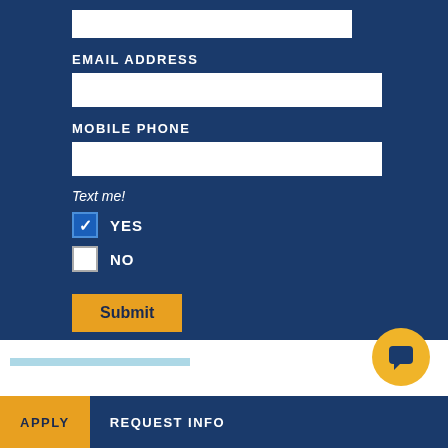[Figure (screenshot): Web form with fields for Email Address and Mobile Phone, with a Text me! checkbox section (YES checked, NO unchecked), a Submit button in gold/yellow, all on a dark navy blue background]
EMAIL ADDRESS
MOBILE PHONE
Text me!
YES
NO
Submit
APPLY   REQUEST INFO